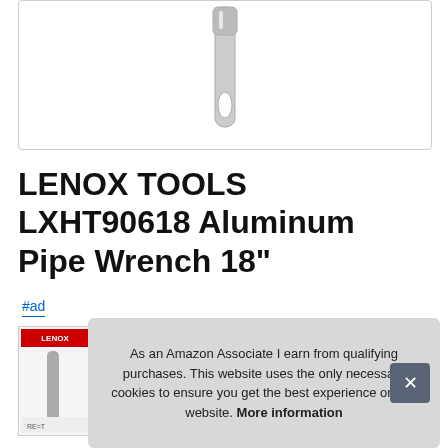[Figure (illustration): Partial view of a LENOX aluminum pipe wrench handle, shown vertically oriented in a white box with rounded corners. The handle is metallic/silver colored with a oval hole cutout near the bottom.]
LENOX TOOLS LXHT90618 Aluminum Pipe Wrench 18"
#ad
[Figure (photo): Small thumbnail image of the LENOX pipe wrench product packaging or product image, partially visible behind the cookie banner.]
As an Amazon Associate I earn from qualifying purchases. This website uses the only necessary cookies to ensure you get the best experience on our website. More information